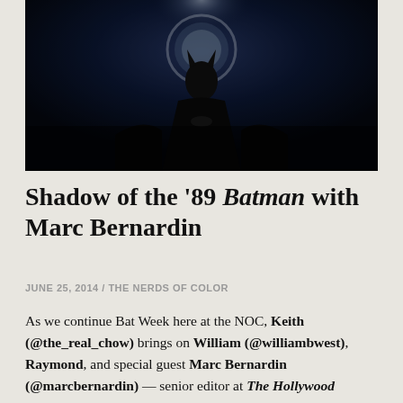[Figure (photo): Dark cinematic image of Batman figure in shadow with dramatic lighting, dark background]
Shadow of the '89 Batman with Marc Bernardin
JUNE 25, 2014 / THE NERDS OF COLOR
As we continue Bat Week here at the NOC, Keith (@the_real_chow) brings on William (@williambwest), Raymond, and special guest Marc Bernardin (@marcbernardin) — senior editor at The Hollywood Reporter who is also a comic book and television writer, as well as a frequent guest on Kevin Smith's Fatman on